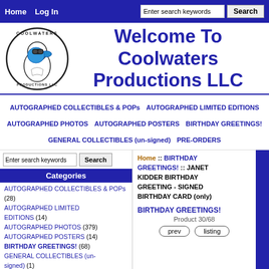Home  Log In  [search bar]  Search
[Figure (logo): Coolwaters Productions LLC circular logo with cartoon duck wearing sunglasses]
Welcome To Coolwaters Productions LLC
AUTOGRAPHED COLLECTIBLES & POPs  AUTOGRAPHED LIMITED EDITIONS  AUTOGRAPHED PHOTOS  AUTOGRAPHED POSTERS  BIRTHDAY GREETINGS!  GENERAL COLLECTIBLES (un-signed)  PRE-ORDERS
Categories
AUTOGRAPHED COLLECTIBLES & POPs (28)
AUTOGRAPHED LIMITED EDITIONS (14)
AUTOGRAPHED PHOTOS (379)
AUTOGRAPHED POSTERS (14)
BIRTHDAY GREETINGS! (68)
GENERAL COLLECTIBLES (un-signed) (1)
PRE-ORDERS (1)
New Products ...
Home :: BIRTHDAY GREETINGS! :: JANET KIDDER BIRTHDAY GREETING - SIGNED BIRTHDAY CARD (only)
BIRTHDAY GREETINGS!
Product 30/68
prev  listing